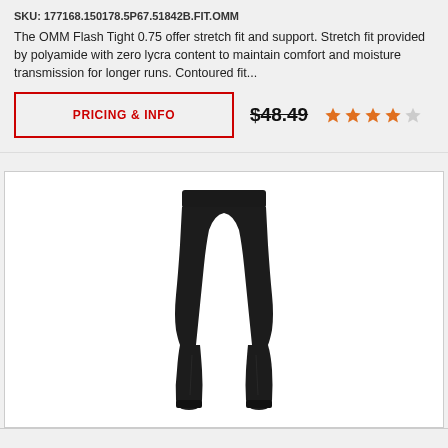SKU: 177168.150178.5P67.51842B.FIT.OMM
The OMM Flash Tight 0.75 offer stretch fit and support. Stretch fit provided by polyamide with zero lycra content to maintain comfort and moisture transmission for longer runs. Contoured fit...
PRICING & INFO
$48.49
[Figure (other): 4 out of 5 star rating with 4 filled orange stars and 1 empty star]
[Figure (photo): Black 3/4 length running tights / capri leggings product photo on white background]